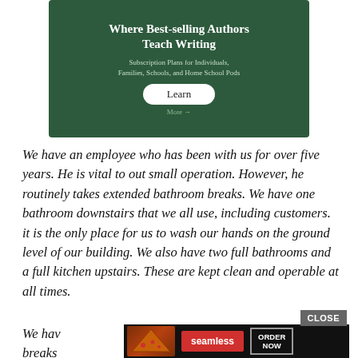[Figure (infographic): Green chalkboard-style advertisement banner: 'Where Best-selling Authors Teach Writing. Subscription Plans for Individuals, Families, Schools, and Home School Pods.' with a 'Learn' button and 'More' link.]
We have an employee who has been with us for over five years. He is vital to out small operation. However, he routinely takes extended bathroom breaks. We have one bathroom downstairs that we all use, including customers. it is the only place for us to wash our hands on the ground level of our building. We also have two full bathrooms and a full kitchen upstairs. These are kept clean and operable at all times.
[Figure (screenshot): Bottom advertisement bar showing pizza image, Seamless logo in red, and ORDER NOW button, with a CLOSE button above it.]
We have ... room breaks ... room.